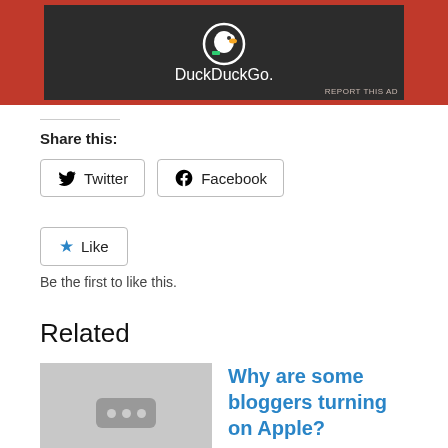[Figure (photo): DuckDuckGo advertisement banner with dark background and logo on red background]
REPORT THIS AD
Share this:
Twitter  Facebook
Like
Be the first to like this.
Related
Why are some bloggers turning on Apple?